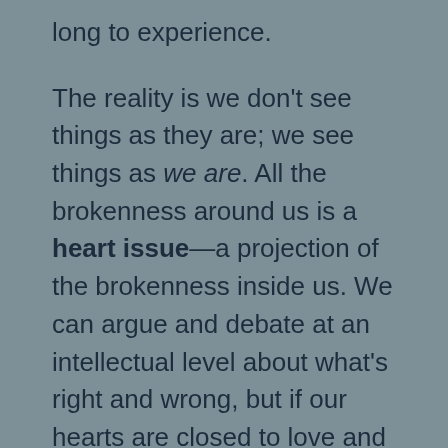long to experience.
The reality is we don't see things as they are; we see things as we are. All the brokenness around us is a heart issue—a projection of the brokenness inside us. We can argue and debate at an intellectual level about what's right and wrong, but if our hearts are closed to love and compassion, we cannot understand one another. If our hearts are standing in firm judgment and condemnation toward our